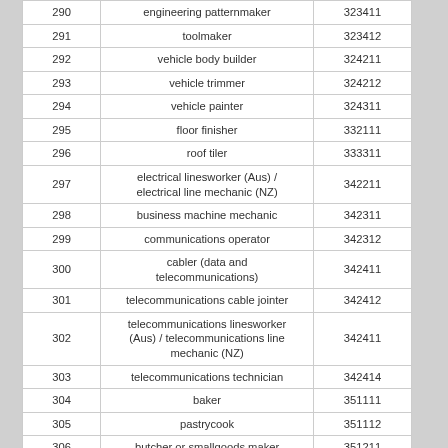|  |  |  |
| --- | --- | --- |
| 290 | engineering patternmaker | 323411 |
| 291 | toolmaker | 323412 |
| 292 | vehicle body builder | 324211 |
| 293 | vehicle trimmer | 324212 |
| 294 | vehicle painter | 324311 |
| 295 | floor finisher | 332111 |
| 296 | roof tiler | 333311 |
| 297 | electrical linesworker (Aus) / electrical line mechanic (NZ) | 342211 |
| 298 | business machine mechanic | 342311 |
| 299 | communications operator | 342312 |
| 300 | cabler (data and telecommunications) | 342411 |
| 301 | telecommunications cable jointer | 342412 |
| 302 | telecommunications linesworker (Aus) / telecommunications line mechanic (NZ) | 342411 |
| 303 | telecommunications technician | 342414 |
| 304 | baker | 351111 |
| 305 | pastrycook | 351112 |
| 306 | butcher or smallgoods maker | 351211 |